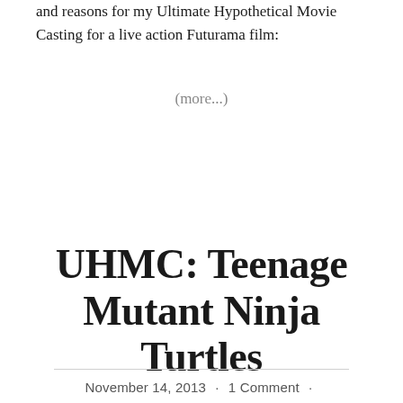and reasons for my Ultimate Hypothetical Movie Casting for a live action Futurama film:
(more...)
UHMC: Teenage Mutant Ninja Turtles
November 14, 2013 · 1 Comment ·